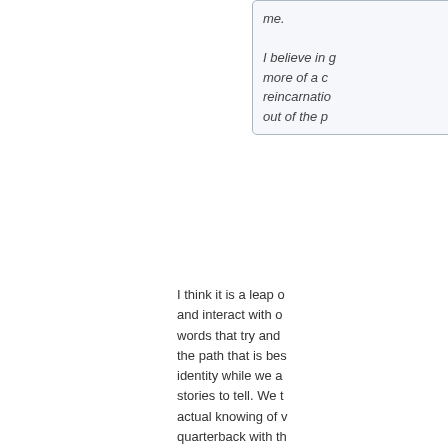me.

I believe in g... more of a c... reincarnatio... out of the p...
I think it is a leap o... and interact with o... words that try and ... the path that is bes... identity while we a... stories to tell. We t... actual knowing of v... quarterback with th... in the 60's and he ... disease from the "... he would get injure... then one morning, ... into the den and to... come to him in the... be leaving the next... sure of it. His famil... minds. He kissed th... when they awoke t... passed. How could... believe. His family ... google him. Bob W... well. Pretty inspirin...